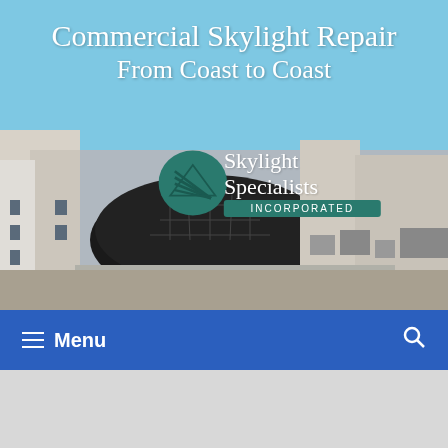Commercial Skylight Repair From Coast to Coast
[Figure (photo): Commercial building rooftop with a large skylight dome, blue sky background, with Skylight Specialists Incorporated logo overlaid]
≡ Menu
[Figure (screenshot): Three partial cards/thumbnails showing skylight products: left card shows a skylight, middle card shows VELUX Modular Skylights Technical Handbook cover, right card shows a commercial skylight installation photo]
VELUX Modular Skylights
Technical Handbook